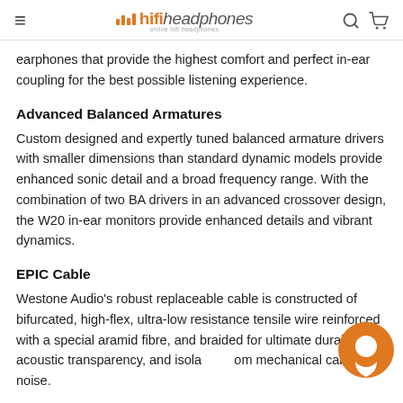hifiheadphones
earphones that provide the highest comfort and perfect in-ear coupling for the best possible listening experience.
Advanced Balanced Armatures
Custom designed and expertly tuned balanced armature drivers with smaller dimensions than standard dynamic models provide enhanced sonic detail and a broad frequency range. With the combination of two BA drivers in an advanced crossover design, the W20 in-ear monitors provide enhanced details and vibrant dynamics.
EPIC Cable
Westone Audio's robust replaceable cable is constructed of bifurcated, high-flex, ultra-low resistance tensile wire reinforced with a special aramid fibre, and braided for ultimate durability, acoustic transparency, and isolation from mechanical cable noise.